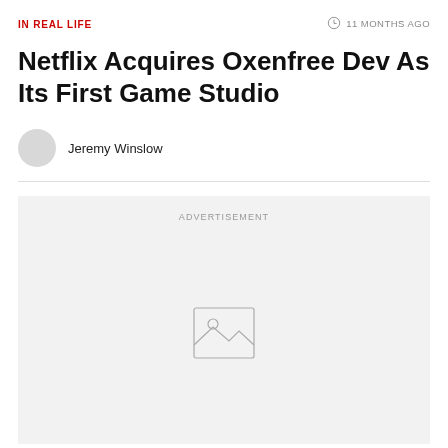IN REAL LIFE
11 MONTHS AGO
Netflix Acquires Oxenfree Dev As Its First Game Studio
Jeremy Winslow
[Figure (other): Advertisement placeholder with image icon]